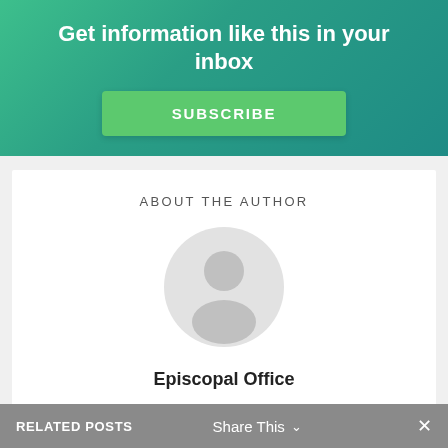Get information like this in your inbox
SUBSCRIBE
ABOUT THE AUTHOR
[Figure (illustration): Generic user avatar placeholder — circle with silhouette of a person in grey tones]
Episcopal Office
RELATED POSTS   Share This ∨   ✕